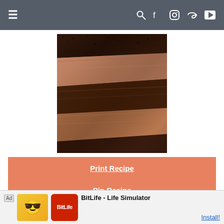≡   🔍 f 📷 p ▶
[Figure (photo): Close-up photo of sliced slow cooker beef brisket with dark bark crust, showing tender meat texture]
Print Recipe
Pin Recipe
Slow Cooker Beef Brisket
★★
This
[Figure (screenshot): Advertisement banner: BitLife - Life Simulator app ad with cartoon mascot and BitLife logo, Install button]